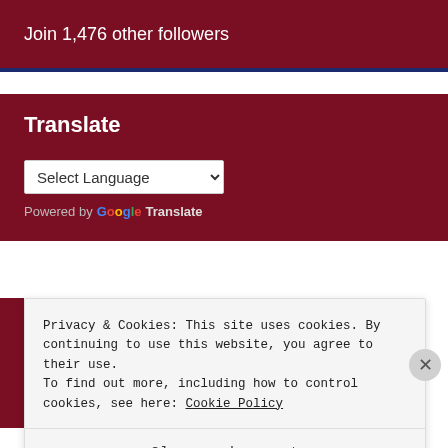Join 1,476 other followers
Translate
Select Language
Powered by Google Translate
Privacy & Cookies: This site uses cookies. By continuing to use this website, you agree to their use.
To find out more, including how to control cookies, see here: Cookie Policy
Close and accept